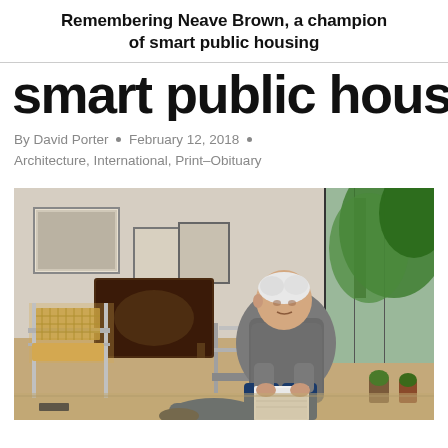Remembering Neave Brown, a champion of smart public housing
smart public housing
By David Porter • February 12, 2018 • Architecture, International, Print–Obituary
[Figure (photo): An elderly man with white hair, wearing a grey sweater and dark blue trousers, seated in a modernist chair in a home interior with plants and framed artwork on the walls.]